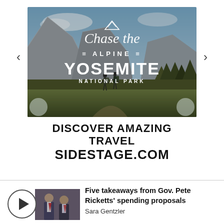[Figure (photo): Advertisement banner for Chase the Alpine — Yosemite National Park showing two hikers in a meadow with dramatic granite cliffs in background. Navigation arrows on left and right sides.]
DISCOVER AMAZING TRAVEL
SIDESTAGE.COM
[Figure (photo): Video thumbnail showing two men in suits with a play button circle overlay, related to Gov. Pete Ricketts news story.]
Five takeaways from Gov. Pete Ricketts' spending proposals
Sara Gentzler